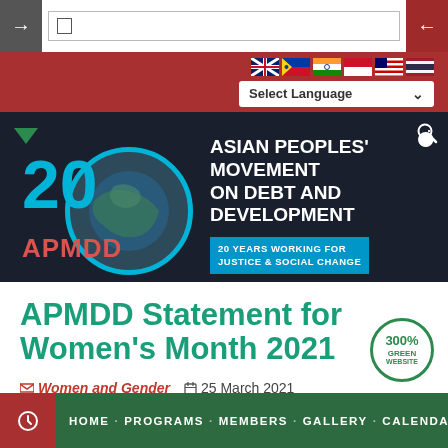Browser navigation bar with address input
[Figure (screenshot): APMDD 20th anniversary banner: Asian Peoples' Movement on Debt and Development, 20 Years Working for Justice & Social Change]
APMDD Statement for Women's Month 2021
Women and Gender  25 March 2021
HOME · PROGRAMS · MEMBERS · GALLERY · CALENDAR